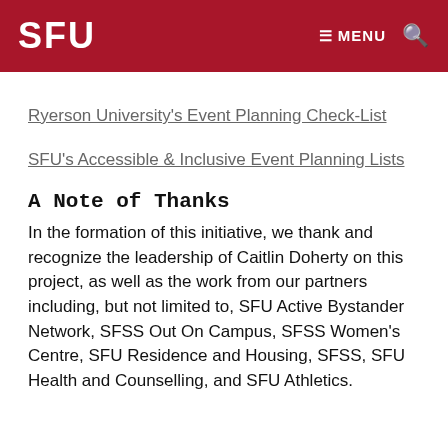SFU  ≡ MENU 🔍
Ryerson University's Event Planning Check-List
SFU's Accessible & Inclusive Event Planning Lists
A Note of Thanks
In the formation of this initiative, we thank and recognize the leadership of Caitlin Doherty on this project, as well as the work from our partners including, but not limited to, SFU Active Bystander Network, SFSS Out On Campus, SFSS Women's Centre, SFU Residence and Housing, SFSS, SFU Health and Counselling, and SFU Athletics.